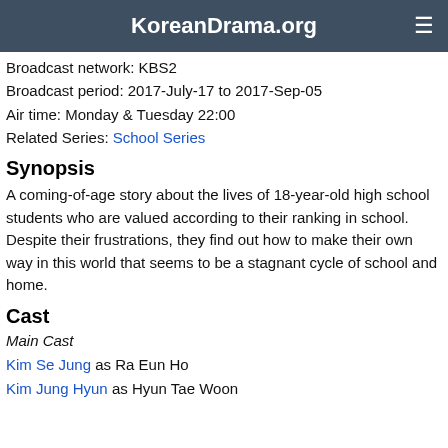KoreanDrama.org
Broadcast network: KBS2
Broadcast period: 2017-July-17 to 2017-Sep-05
Air time: Monday & Tuesday 22:00
Related Series: School Series
Synopsis
A coming-of-age story about the lives of 18-year-old high school students who are valued according to their ranking in school. Despite their frustrations, they find out how to make their own way in this world that seems to be a stagnant cycle of school and home.
Cast
Main Cast
Kim Se Jung as Ra Eun Ho
Kim Jung Hyun as Hyun Tae Woon